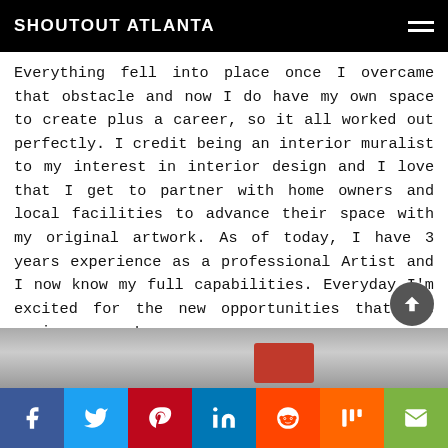SHOUTOUT ATLANTA
Everything fell into place once I overcame that obstacle and now I do have my own space to create plus a career, so it all worked out perfectly. I credit being an interior muralist to my interest in interior design and I love that I get to partner with home owners and local facilities to advance their space with my original artwork. As of today, I have 3 years experience as a professional Artist and I now know my full capabilities. Everyday I'm excited for the new opportunities that are coming my way!
[Figure (photo): Partial photo visible at bottom of page, showing a person with red and gray tones]
[Figure (infographic): Social media sharing bar with Facebook, Twitter, Pinterest, LinkedIn, Reddit, Mix, and Email buttons]